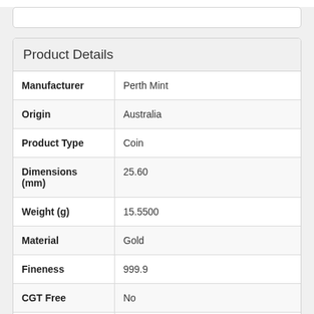| Attribute | Value |
| --- | --- |
| Manufacturer | Perth Mint |
| Origin | Australia |
| Product Type | Coin |
| Dimensions (mm) | 25.60 |
| Weight (g) | 15.5500 |
| Material | Gold |
| Fineness | 999.9 |
| CGT Free | No |
| Denomination | $AUS 50 |